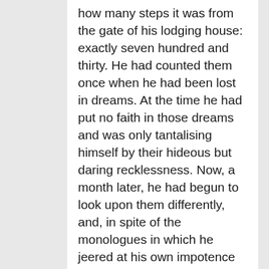how many steps it was from the gate of his lodging house: exactly seven hundred and thirty. He had counted them once when he had been lost in dreams. At the time he had put no faith in those dreams and was only tantalising himself by their hideous but daring recklessness. Now, a month later, he had begun to look upon them differently, and, in spite of the monologues in which he jeered at his own impotence and indecision, he had involuntarily come to regard this "hideous" dream as an exploit to be attempted, although he still did not realise this himself. He was positively going now for a "rehearsal" of his project, and at every step his excitement grew more and more violent.